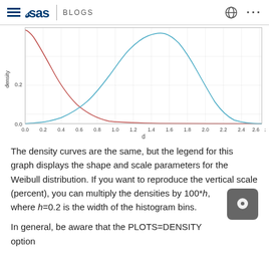SAS BLOGS
[Figure (continuous-plot): Two density curves plotted against d (x-axis, 0.0 to 3.2) and density (y-axis, 0.0 to ~0.35). One curve is teal/green bell-shaped peaking around d=1.7. The other is a red/brown decreasing curve starting high near d=0 and declining to near 0 by d=3.2.]
The density curves are the same, but the legend for this graph displays the shape and scale parameters for the Weibull distribution. If you want to reproduce the vertical scale (percent), you can multiply the densities by 100*h, where h=0.2 is the width of the histogram bins.
In general, be aware that the PLOTS=DENSITY option